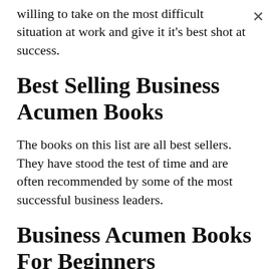willing to take on the most difficult situation at work and give it it's best shot at success.
Best Selling Business Acumen Books
The books on this list are all best sellers. They have stood the test of time and are often recommended by some of the most successful business leaders.
Business Acumen Books For Beginners